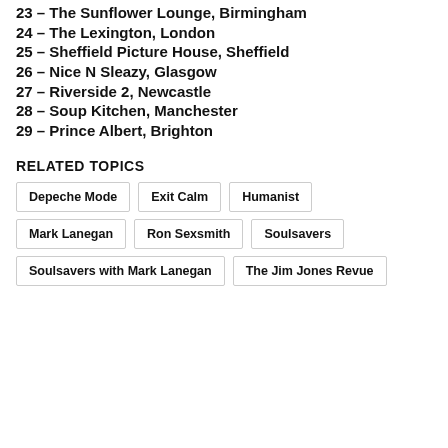23 – The Sunflower Lounge, Birmingham
24 – The Lexington, London
25 – Sheffield Picture House, Sheffield
26 – Nice N Sleazy, Glasgow
27 – Riverside 2, Newcastle
28 – Soup Kitchen, Manchester
29 – Prince Albert, Brighton
RELATED TOPICS
Depeche Mode
Exit Calm
Humanist
Mark Lanegan
Ron Sexsmith
Soulsavers
Soulsavers with Mark Lanegan
The Jim Jones Revue